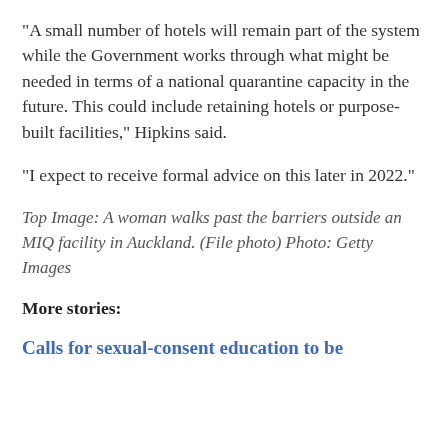“A small number of hotels will remain part of the system while the Government works through what might be needed in terms of a national quarantine capacity in the future. This could include retaining hotels or purpose-built facilities,” Hipkins said.
“I expect to receive formal advice on this later in 2022.”
Top Image: A woman walks past the barriers outside an MIQ facility in Auckland. (File photo) Photo: Getty Images
More stories:
Calls for sexual-consent education to be